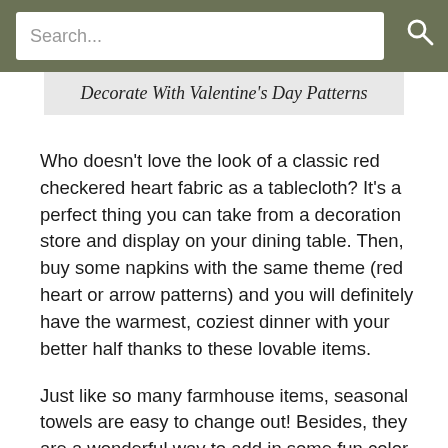Search...
Decorate With Valentine's Day Patterns
Who doesn't love the look of a classic red checkered heart fabric as a tablecloth? It's a perfect thing you can take from a decoration store and display on your dining table. Then, buy some napkins with the same theme (red heart or arrow patterns) and you will definitely have the warmest, coziest dinner with your better half thanks to these lovable items.
Just like so many farmhouse items, seasonal towels are easy to change out! Besides, they are a wonderful way to add in some fun color. With Valentine's Day patterns towels, they are